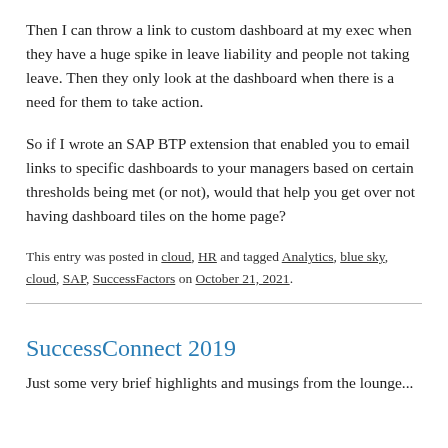Then I can throw a link to custom dashboard at my exec when they have a huge spike in leave liability and people not taking leave. Then they only look at the dashboard when there is a need for them to take action.
So if I wrote an SAP BTP extension that enabled you to email links to specific dashboards to your managers based on certain thresholds being met (or not), would that help you get over not having dashboard tiles on the home page?
This entry was posted in cloud, HR and tagged Analytics, blue sky, cloud, SAP, SuccessFactors on October 21, 2021.
SuccessConnect 2019
Just some very brief highlights and musings from the lounge...